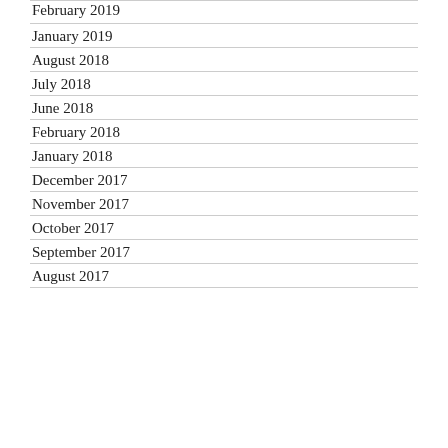February 2019
January 2019
August 2018
July 2018
June 2018
February 2018
January 2018
December 2017
November 2017
October 2017
September 2017
August 2017